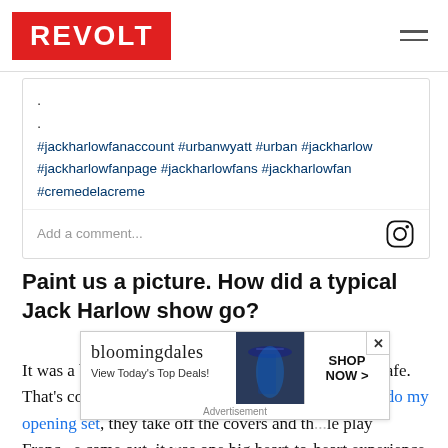REVOLT
.
.
#jackharlowfanaccount #urbanwyatt #urban #jackharlow #jackharlowfanpage #jackharlowfans #jackharlowfan #cremedelacreme
Add a comment...
Paint us a picture. How did a typical Jack Harlow show go?
It was a big Paris vibe. The stage design is an entire cafe. That's covered for the openers. Five minutes before I do my opening set, they take off the covers and th... le play Frenc... e came out, it was one big heart-to-heart experience
[Figure (screenshot): Bloomingdale's advertisement overlay: 'View Today's Top Deals!' with SHOP NOW button and close X]